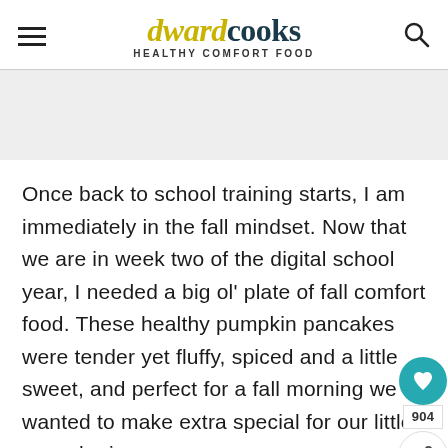dwardcooks — HEALTHY COMFORT FOOD
Once back to school training starts, I am immediately in the fall mindset. Now that we are in week two of the digital school year, I needed a big ol' plate of fall comfort food. These healthy pumpkin pancakes were tender yet fluffy, spiced and a little sweet, and perfect for a fall morning we wanted to make extra special for our little one who is